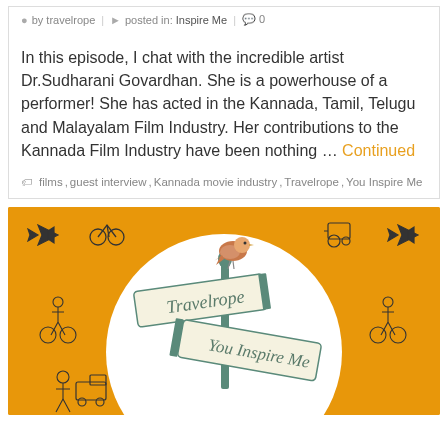by travelrope | posted in: Inspire Me | 0
In this episode, I chat with the incredible artist Dr.Sudharani Govardhan. She is a powerhouse of a performer! She has acted in the Kannada, Tamil, Telugu and Malayalam Film Industry. Her contributions to the Kannada Film Industry have been nothing … Continued
films, guest interview, Kannada movie industry, Travelrope, You Inspire Me
[Figure (illustration): Travelrope You Inspire Me podcast logo illustration: orange background with doodles of vehicles and people around a white circle, featuring a street sign post with signs reading 'Travelrope' and 'You Inspire Me', with a small bird perched on top.]